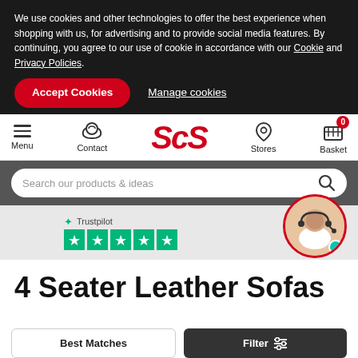We use cookies and other technologies to offer the best experience when shopping with us, for advertising and to provide social media features. By continuing, you agree to our use of cookie in accordance with our Cookie and Privacy Policies.
Accept Cookies   Manage cookies
[Figure (screenshot): SCS website navigation bar with Menu, Contact, ScS logo, Stores, and Basket icons]
Search our products & ideas
[Figure (logo): Trustpilot 5-star rating with chat support avatar]
4 Seater Leather Sofas
Best Matches   Filter